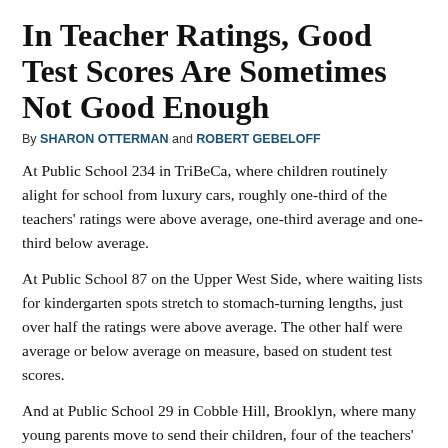In Teacher Ratings, Good Test Scores Are Sometimes Not Good Enough
By SHARON OTTERMAN and ROBERT GEBELOFF
At Public School 234 in TriBeCa, where children routinely alight for school from luxury cars, roughly one-third of the teachers' ratings were above average, one-third average and one-third below average.
At Public School 87 on the Upper West Side, where waiting lists for kindergarten spots stretch to stomach-turning lengths, just over half the ratings were above average. The other half were average or below average on measure, based on student test scores.
And at Public School 29 in Cobble Hill, Brooklyn, where many young parents move to send their children, four of the teachers' ratings were above average, seven were average and five were below.